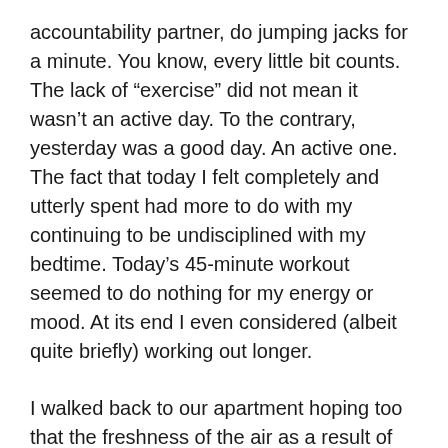accountability partner, do jumping jacks for a minute. You know, every little bit counts. The lack of “exercise” did not mean it wasn’t an active day. To the contrary, yesterday was a good day. An active one.  The fact that today I felt completely and utterly spent had more to do with my continuing to be undisciplined with my bedtime. Today’s 45-minute workout seemed to do nothing for my energy or mood. At its end I even considered (albeit quite briefly) working out longer.
I walked back to our apartment hoping too that the freshness of the air as a result of the recent rain would help. It did not. I sat back down in front of my computer and tried to get back to work but I just wasn’t feeling it. I wasn’t in the mood. I puttered around for a bit but it was already after 7pm and I needed to consider what I’d eat. I don’t cook. I never derived any pleasure from it and simply don’t do much